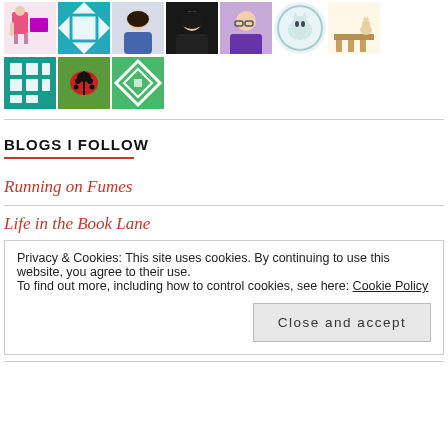[Figure (photo): Grid of avatar/profile images: row 1 has 7 small avatars including people, illustrations, and icons; row 2 has 3 avatars including quilt patterns and a ladybug photo.]
BLOGS I FOLLOW
Running on Fumes
Life in the Book Lane
Privacy & Cookies: This site uses cookies. By continuing to use this website, you agree to their use.
To find out more, including how to control cookies, see here: Cookie Policy
Close and accept